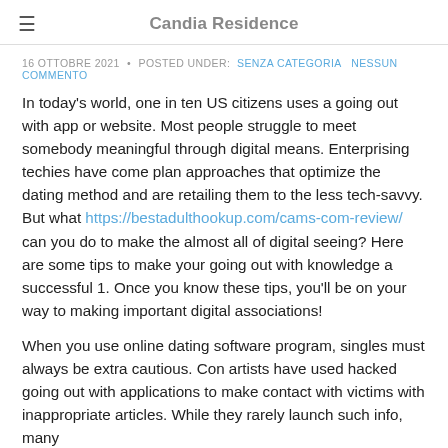≡  Candia Residence
16 OTTOBRE 2021 • POSTED UNDER: SENZA CATEGORIA NESSUN COMMENTO
In today's world, one in ten US citizens uses a going out with app or website. Most people struggle to meet somebody meaningful through digital means. Enterprising techies have come plan approaches that optimize the dating method and are retailing them to the less tech-savvy. But what https://bestadulthookup.com/cams-com-review/ can you do to make the almost all of digital seeing? Here are some tips to make your going out with knowledge a successful 1. Once you know these tips, you'll be on your way to making important digital associations!
When you use online dating software program, singles must always be extra cautious. Con artists have used hacked going out with applications to make contact with victims with inappropriate articles. While they rarely launch such info, many